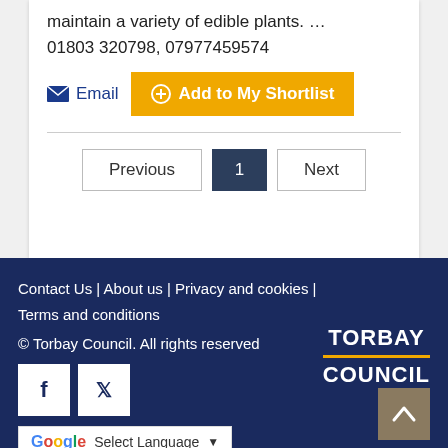maintain a variety of edible plants. …
01803 320798, 07977459574
Email
Add to My Shortlist
Previous  1  Next
Contact Us | About us | Privacy and cookies | Terms and conditions
© Torbay Council. All rights reserved
TORBAY COUNCIL
Select Language